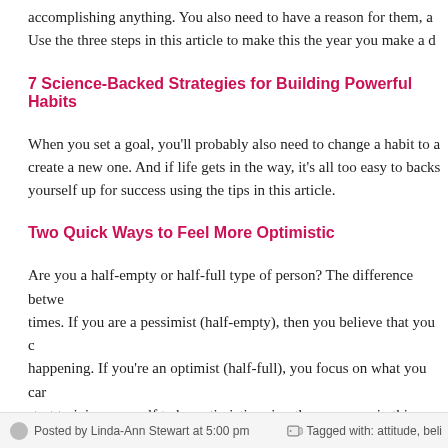accomplishing anything. You also need to have a reason for them, a Use the three steps in this article to make this the year you make a d
7 Science-Backed Strategies for Building Powerful Habits
When you set a goal, you'll probably also need to change a habit to a create a new one. And if life gets in the way, it's all too easy to backs yourself up for success using the tips in this article.
Two Quick Ways to Feel More Optimistic
Are you a half-empty or half-full type of person? The difference betwe times. If you are a pessimist (half-empty), then you believe that you c happening. If you're an optimist (half-full), you focus on what you car start training yourself to be optimistic using the resources in this artic
~ Linda-Ann Stewart
Posted by Linda-Ann Stewart at 5:00 pm   Tagged with: attitude, beli